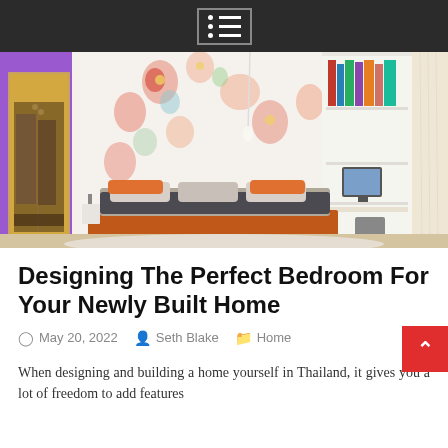Menu icon / navigation header
[Figure (photo): Interior bedroom photo showing a modern bedroom with purple wall on the left with open wardrobe, floral wallpaper feature wall behind the bed, an orange platform bed with gray bedding, white built-in shelving unit with books on the right, a desk with computer monitor, and orange accent furniture.]
Designing The Perfect Bedroom For Your Newly Built Home
May 20, 2022   Seth Blake   Home
When designing and building a home yourself in Thailand, it gives you a lot of freedom to add features